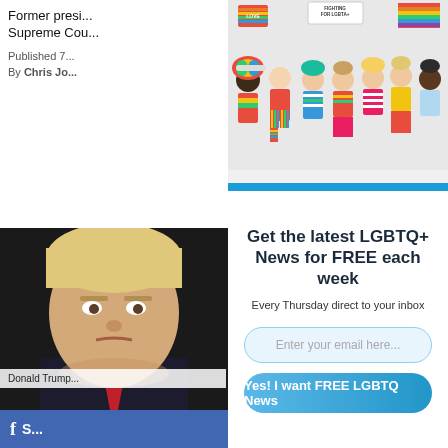Former presi... Supreme Cou...
Published 7...
By Chris Jo...
[Figure (photo): Donald Trump close-up photo, looking upward, wearing red tie]
Donald Trump...
[Figure (photo): Group of LGBTQ+ pride supporters holding signs and rainbow flags, colorfully dressed]
Get the latest LGBTQ+ News for FREE each week
Every Thursday direct to your inbox
Enter your email here...
Yes! I want FREE LGBTQ News